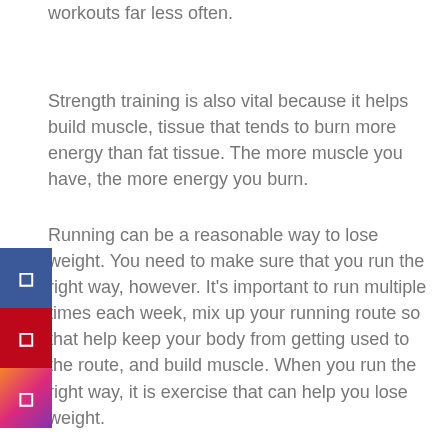workouts far less often.
Strength training is also vital because it helps build muscle, tissue that tends to burn more energy than fat tissue. The more muscle you have, the more energy you burn.
Running can be a reasonable way to lose weight. You need to make sure that you run the right way, however. It’s important to run multiple times each week, mix up your running route so that help keep your body from getting used to the route, and build muscle. When you run the right way, it is exercise that can help you lose weight.